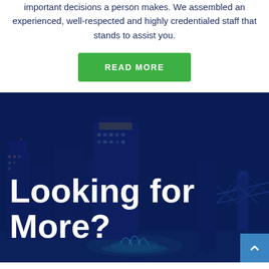important decisions a person makes. We assembled an experienced, well-respected and highly credentialed staff that stands to assist you.
READ MORE
[Figure (photo): Night cityscape of Jacksonville, FL with illuminated skyscrapers including Wells Fargo building and a bridge lit in blue, with fountains in the foreground overlaid with a dark blue tint and the large white text 'Looking for More?']
Looking for More?